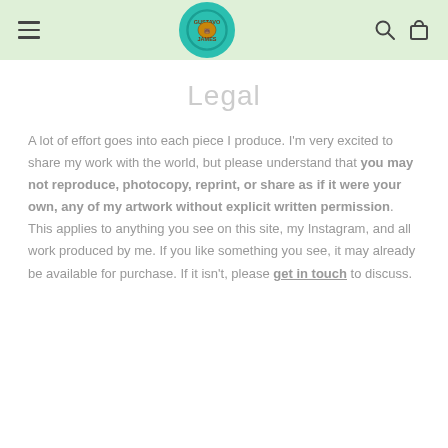Gustavo James [logo/navigation header]
Legal
A lot of effort goes into each piece I produce. I'm very excited to share my work with the world, but please understand that you may not reproduce, photocopy, reprint, or share as if it were your own, any of my artwork without explicit written permission. This applies to anything you see on this site, my Instagram, and all work produced by me. If you like something you see, it may already be available for purchase. If it isn't, please get in touch to discuss.